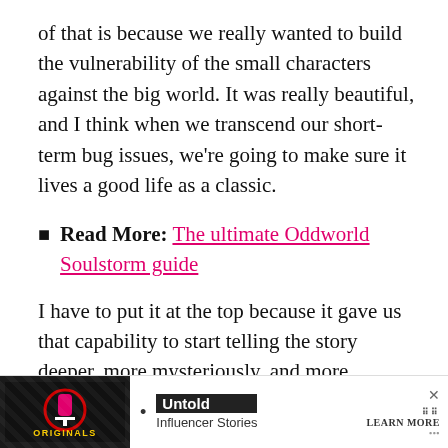of that is because we really wanted to build the vulnerability of the small characters against the big world. It was really beautiful, and I think when we transcend our short-term bug issues, we're going to make sure it lives a good life as a classic.
Read More: The ultimate Oddworld Soulstorm guide
I have to put it at the top because it gave us that capability to start telling the story deeper, more mysteriously, and more powerfully, and people have noticed that. Those emotional hooks are sinking in better, the story went deeper into Oddworld in a way, and I think it sets the stage well for what comes next and bringing other characters into it.
Strang… sure.
[Figure (screenshot): Advertisement banner at bottom of page showing Originals logo, Untold Influencer Stories promotional content with Learn More button and close X button]